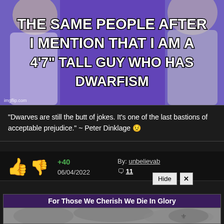[Figure (photo): Meme image with purple background showing two people and bold white text overlay reading: THE SAME PEOPLE AFTER I MENTION THAT I AM A 4'7" TALL GUY WHO HAS DWARFISM. Imgflip.com watermark in bottom left.]
"Dwarves are still the butt of jokes. It's one of the last bastions of acceptable prejudice." ~ Peter Dinklage 😟
+40  By: unbelievab  06/04/2022  💬 11  Hide ✕
For Those We Cherish We Die In Glory
[Figure (illustration): Warhammer 40K themed anime-style illustration showing a Space Marine with eagle emblem armor in a grey stormy sky background.]